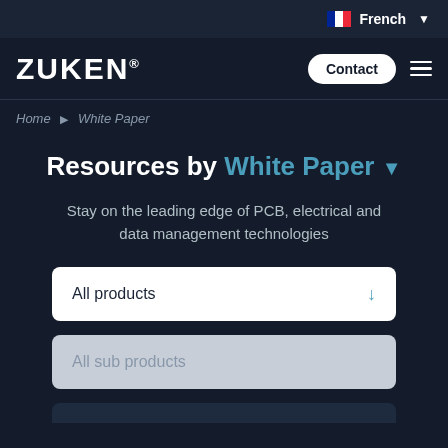French
[Figure (logo): Zuken logo with registered trademark]
Contact
Home › White Paper
Resources by White Paper
Stay on the leading edge of PCB, electrical and data management technologies
All products
All sub products